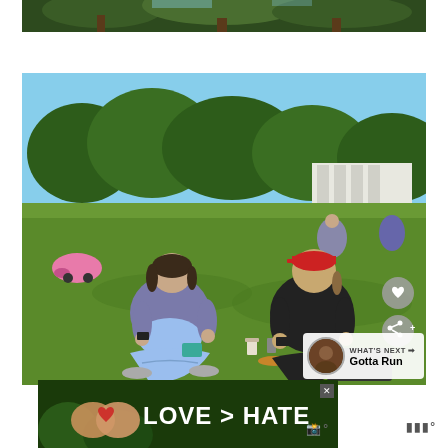[Figure (photo): Partial top of a photo showing tree branches and foliage against sky]
[Figure (photo): Two women sitting cross-legged on green grass in a park on a sunny day. The woman on the left wears a purple hoodie and shorts; the woman on the right wears a black jacket and red baseball cap. There is a pink toy car on the left side, food/drinks on the grass between them, and trees and a white building in the background. A heart (like) button and share button overlay on the right side. A 'WHAT'S NEXT — Gotta Run' overlay appears at the bottom right.]
[Figure (photo): Advertisement banner showing two hands forming a heart shape with text 'LOVE > HATE' in large white letters on a nature background, with a close X button and a logo on the right]